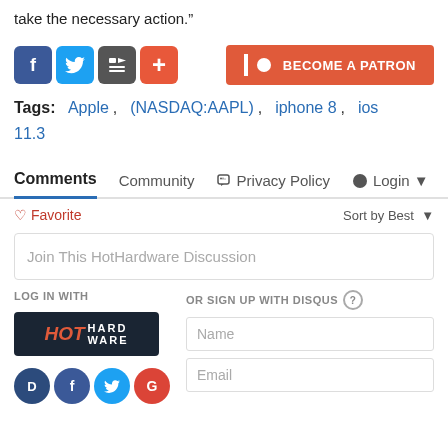take the necessary action.”
Tags: Apple , (NASDAQ:AAPL) , iphone 8 , ios 11.3
Comments  Community  Privacy Policy  Login
♡ Favorite   Sort by Best
Join This HotHardware Discussion
LOG IN WITH
OR SIGN UP WITH DISQUS
Name
Email